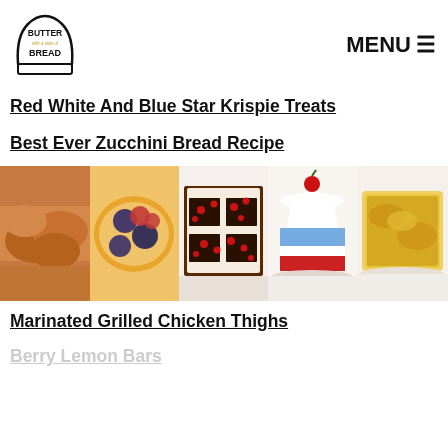[Figure (logo): Butter with a side of Bread logo — bread slice outline with text]
MENU ☰
Red White And Blue Star Krispie Treats
Best Ever Zucchini Bread Recipe
[Figure (photo): Strip of 5 food photos: grilled chicken, berry tart, chocolate brownies with red candies, red/white/blue layered cake with cherry, and a yellow baked dish]
Marinated Grilled Chicken Thighs
Berry Lemon Bars